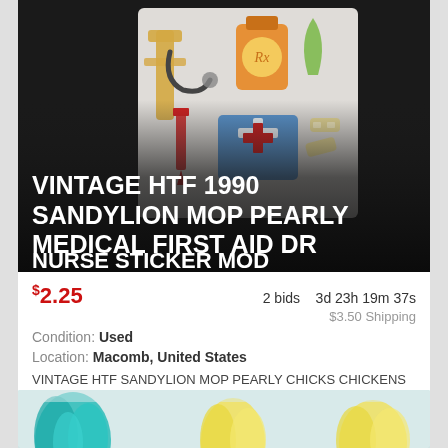[Figure (photo): Product photo of a vintage Sandylion MOP Pearly Medical First Aid sticker sheet on dark background, showing medical-themed stickers including crutch, medicine bottle with Rx label, stethoscope, bandages, first aid kit, and a red cross. Title text overlaid: VINTAGE HTF 1990 SANDYLION MOP PEARLY MEDICAL FIRST AID DR NURSE STICKER MOD]
VINTAGE HTF 1990 SANDYLION MOP PEARLY MEDICAL FIRST AID DR NURSE STICKER MOD
$2.25  2 bids  3d 23h 19m 37s  $3.50 Shipping  Condition: Used  Location: Macomb, United States  VINTAGE HTF SANDYLION MOP PEARLY CHICKS CHICKENS HATCHING EGG STICKER MOD.
[Figure (photo): Partial photo of colorful fluffy feathered items (teal and yellow) on a light background, partially visible at the bottom of the page.]